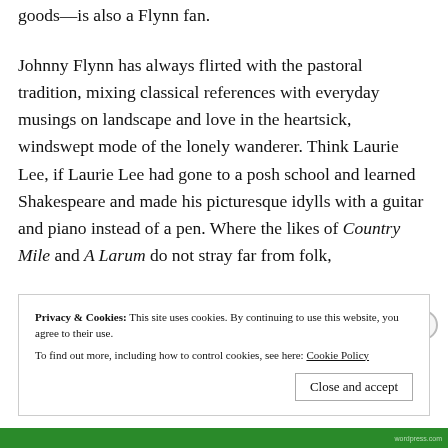goods—is also a Flynn fan.
Johnny Flynn has always flirted with the pastoral tradition, mixing classical references with everyday musings on landscape and love in the heartsick, windswept mode of the lonely wanderer. Think Laurie Lee, if Laurie Lee had gone to a posh school and learned Shakespeare and made his picturesque idylls with a guitar and piano instead of a pen. Where the likes of Country Mile and A Larum do not stray far from folk,
Privacy & Cookies: This site uses cookies. By continuing to use this website, you agree to their use.
To find out more, including how to control cookies, see here: Cookie Policy
Close and accept